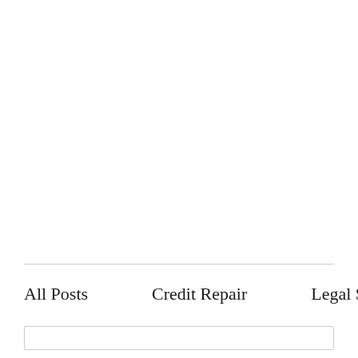All Posts    Credit Repair    Legal Self-help